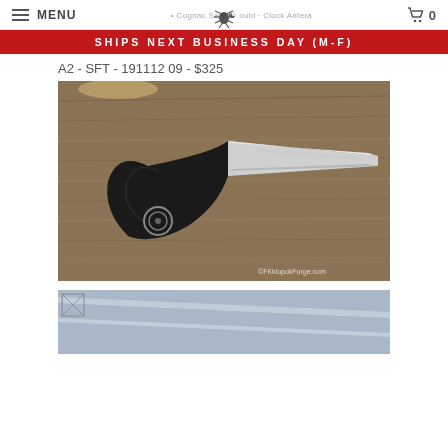MENU  [spider logo]  [navigation links]  [cart] 0
SHIPS NEXT BUSINESS DAY (M-F)
A2 - SFT - 191112 09 - $325
[Figure (photo): A knife with a black handle and silver blade resting on a wooden surface. The handle has a circular logo. Watermark reads ©FKklopokForge.com]
[Figure (photo): Partial view of another knife, cropped at bottom of page]